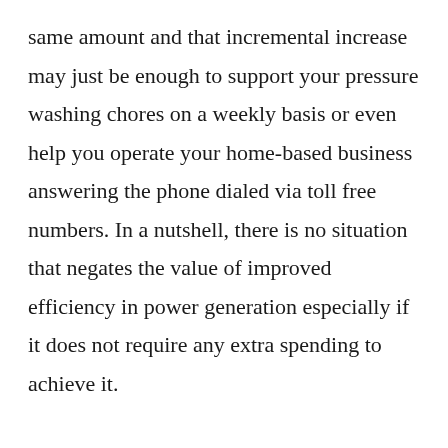same amount and that incremental increase may just be enough to support your pressure washing chores on a weekly basis or even help you operate your home-based business answering the phone dialed via toll free numbers. In a nutshell, there is no situation that negates the value of improved efficiency in power generation especially if it does not require any extra spending to achieve it.
This is where the science comes in. The question on the efficiency of wind turbines is